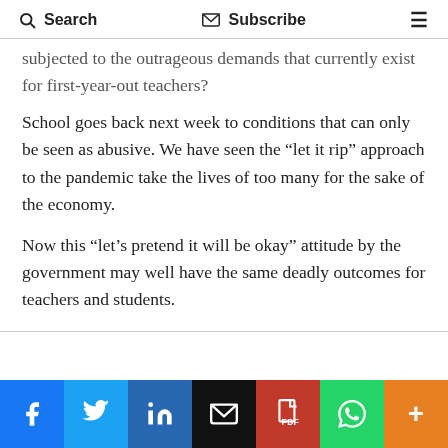Search   Subscribe   ☰
subjected to the outrageous demands that currently exist for first-year-out teachers?
School goes back next week to conditions that can only be seen as abusive. We have seen the “let it rip” approach to the pandemic take the lives of too many for the sake of the economy.
Now this “let’s pretend it will be okay” attitude by the government may well have the same deadly outcomes for teachers and students.
[Figure (other): Social media sharing bar with Facebook, Twitter, LinkedIn, Email, PDF, WhatsApp, and More buttons]